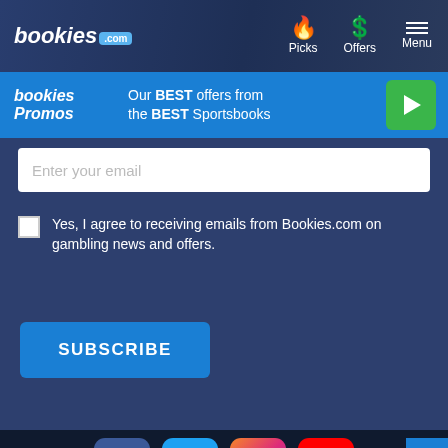bookies.com — Picks | Offers | Menu
[Figure (screenshot): Bookies Promos banner: Our BEST offers from the BEST Sportsbooks with green play button]
Enter your email
Yes, I agree to receiving emails from Bookies.com on gambling news and offers.
SUBSCRIBE
[Figure (infographic): Social media icons: Facebook, Twitter, Instagram, YouTube]
LEGAL GAMBLING SITES
ODDS
NFL Odds